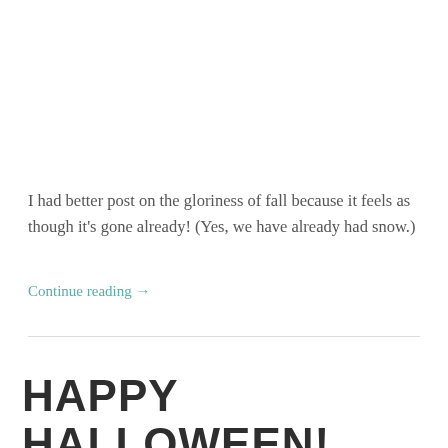I had better post on the gloriness of fall because it feels as though it's gone already! (Yes, we have already had snow.)
Continue reading →
HAPPY HALLOWEEN!